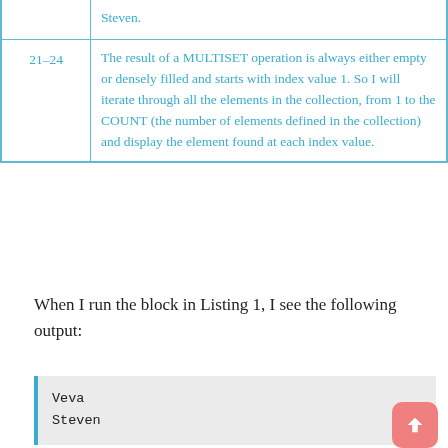| Lines | Description |
| --- | --- |
|  | Steven. |
| 21–24 | The result of a MULTISET operation is always either empty or densely filled and starts with index value 1. So I will iterate through all the elements in the collection, from 1 to the COUNT (the number of elements defined in the collection) and display the element found at each index value. |
When I run the block in Listing 1, I see the following output:
Veva
Steven
Listing 1 also includes references to the lines in the code block and descriptions of how those lines contribute to the nested table example.